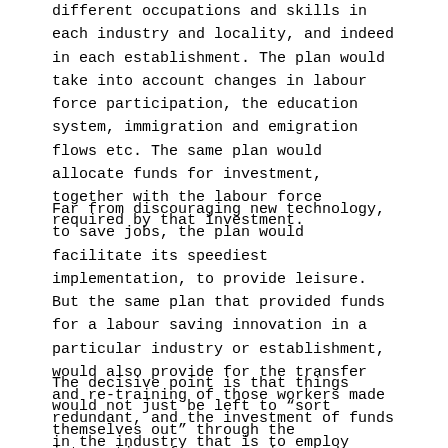different occupations and skills in each industry and locality, and indeed in each establishment. The plan would take into account changes in labour force participation, the education system, immigration and emigration flows etc. The same plan would allocate funds for investment, together with the labour force required by that investment.
Far from discouraging new technology, to save jobs, the plan would facilitate its speediest implementation, to provide leisure. But the same plan that provided funds for a labour saving innovation in a particular industry or establishment, would also provide for the transfer and re-training of those workers made redundant, and the investment of funds in the industry that is to employ them, or the reduction in working hours that goes together with increased productivity.
The decisive point is that things would not just be left to "sort themselves out" through the interaction of wages, prices and profit rates on investment, and the consequent formation and absorption of